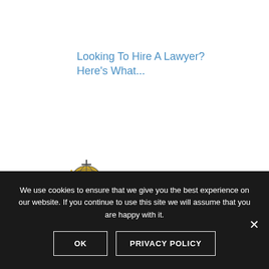Looking To Hire A Lawyer? Here's What...
[Figure (logo): LifeGag logo with golden globe icon and bold black text 'LifeGag']
We use cookies to ensure that we give you the best experience on our website. If you continue to use this site we will assume that you are happy with it.